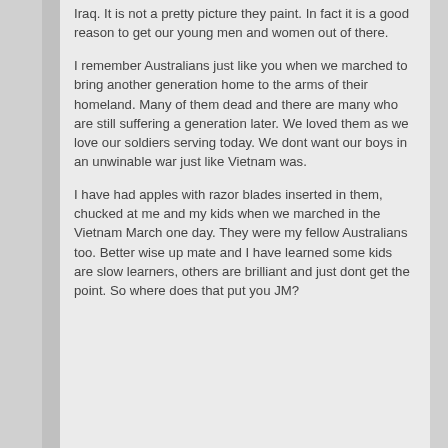Iraq. It is not a pretty picture they paint. In fact it is a good reason to get our young men and women out of there.
I remember Australians just like you when we marched to bring another generation home to the arms of their homeland. Many of them dead and there are many who are still suffering a generation later. We loved them as we love our soldiers serving today. We dont want our boys in an unwinable war just like Vietnam was.
I have had apples with razor blades inserted in them, chucked at me and my kids when we marched in the Vietnam March one day. They were my fellow Australians too. Better wise up mate and I have learned some kids are slow learners, others are brilliant and just dont get the point. So where does that put you JM?